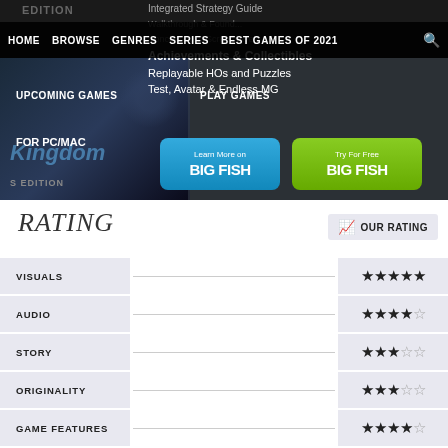[Figure (screenshot): Website screenshot showing navigation bar with HOME, BROWSE, GENRES, SERIES, BEST GAMES OF 2021 links, a dropdown menu with items including Integrated Strategy Guide, Achievements & Collectibles, Replayable HOs and Puzzles, Test Avatar & Endless MG, Concept Art & Screensavers, and a game banner showing 'Kingdom' with UPCOMING GAMES, PLAY GAMES labels, FOR PC/MAC text, and two BIG FISH buttons (Learn More on BIG FISH in blue, Try For Free BIG FISH in green)]
RATING
OUR RATING
VISUALS
AUDIO
STORY
ORIGINALITY
GAME FEATURES